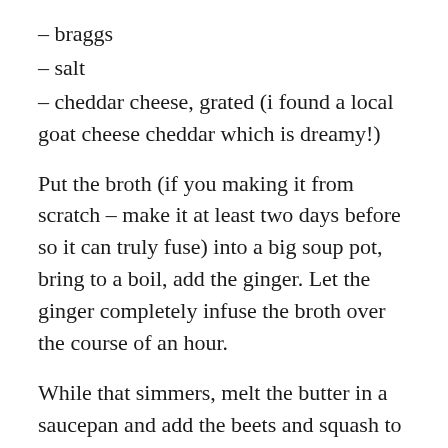– braggs
– salt
– cheddar cheese, grated (i found a local goat cheese cheddar which is dreamy!)
Put the broth (if you making it from scratch – make it at least two days before so it can truly fuse) into a big soup pot, bring to a boil, add the ginger. Let the ginger completely infuse the broth over the course of an hour.
While that simmers, melt the butter in a saucepan and add the beets and squash to it. Keep at medium heat, stirring occasionally, until the squash starts to come apart in buttery goodness. (30 minutes or so)